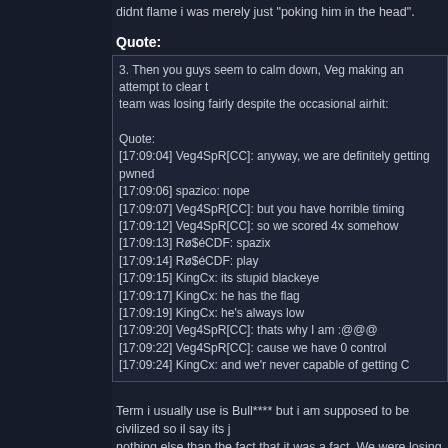didnt flame i was merely just "poking him in the head".
Quote:
3. Then you guys seem to calm down, Veg making an attempt to clear the team was losing fairly despite the occasional airhit:

Quote:
[17:09:04] Veg4SpR[CC]: anyway, we are definitely getting pwned
[17:09:06] spazico: nope
[17:09:07] Veg4SpR[CC]: but you have horrible timing
[17:09:12] Veg4SpR[CC]: so we scored 4x somehow
[17:09:13] Rø$éCDF: spazix
[17:09:14] Rø$éCDF: play
[17:09:15] KingCx: its stupid blackeye
[17:09:17] KingCx: he has the flag
[17:09:19] KingCx: he's always low
[17:09:20] Veg4SpR[CC]: thats why I am :@@@
[17:09:22] Veg4SpR[CC]: cause we have 0 control
[17:09:24] KingCx: and we'r never capable of getting C
Term i usually use is Bull**** but i am supposed to be civilized so il say its j nothing else than the fact that it was a fact. We were losing 4-2 or something and veg merely stated it out. it was not "an attempt to clear things out".
Quote:
4. You guys score on a cto, Veg gets a bit pissed off, which is how pretty in such a situation, and you can't resist bringing up the old cw business. exaggerate greatly by saying that this is something that happens all the

Quote:
[17:12:00] KingCx: funny veg you always seem to cto on scoring oppo
[17:12:01] Rr$éCDF: soz
[17:12:04] Veg4SpR[CC]: what
[17:12:06] Veg4SpR[CC]: YOU were e1